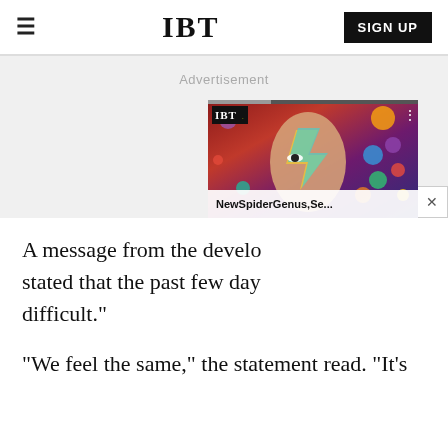IBT | SIGN UP
Advertisement
A message from the develo stated that the past few day difficult."
[Figure (screenshot): IBT video widget showing a David Bowie-style face painting artwork with colorful planets/bubbles background and caption 'NewSpiderGenus,Se...']
"We feel the same," the statement read. "It's